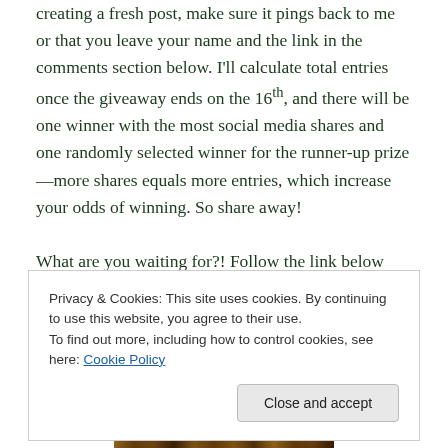creating a fresh post, make sure it pings back to me or that you leave your name and the link in the comments section below. I'll calculate total entries once the giveaway ends on the 16th, and there will be one winner with the most social media shares and one randomly selected winner for the runner-up prize—more shares equals more entries, which increase your odds of winning. So share away!
What are you waiting for?! Follow the link below and enter to win the Grand Prize each day until October 16th. And as
Privacy & Cookies: This site uses cookies. By continuing to use this website, you agree to their use.
To find out more, including how to control cookies, see here: Cookie Policy
[Figure (photo): Partial photo strip at bottom of page showing a dark image]